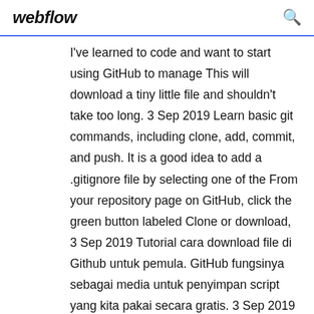webflow
I've learned to code and want to start using GitHub to manage This will download a tiny little file and shouldn't take too long. 3 Sep 2019 Learn basic git commands, including clone, add, commit, and push. It is a good idea to add a .gitignore file by selecting one of the From your repository page on GitHub, click the green button labeled Clone or download,  3 Sep 2019 Tutorial cara download file di Github untuk pemula. GitHub fungsinya sebagai media untuk penyimpan script yang kita pakai secara gratis. 3 Sep 2019 Tutorial cara download file di Github untuk pemula. GitHub fungsinya sebagai media untuk penyimpan script yang kita pakai secara gratis.